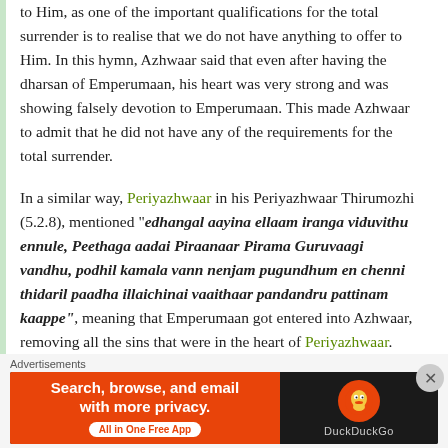to Him, as one of the important qualifications for the total surrender is to realise that we do not have anything to offer to Him. In this hymn, Azhwaar said that even after having the dharsan of Emperumaan, his heart was very strong and was showing falsely devotion to Emperumaan. This made Azhwaar to admit that he did not have any of the requirements for the total surrender.
In a similar way, Periyazhwaar in his Periyazhwaar Thirumozhi (5.2.8), mentioned "edhangal aayina ellaam iranga viduvithu ennule, Peethaga aadai Piraanaar Pirama Guruvaagi vandhu, podhil kamala vann nenjam pugundhum en chenni thidaril paadha illaichinai vaaithaar pandandru pattinam kaappe", meaning that Emperumaan got entered into Azhwaar, removing all the sins that were in the heart of Periyazhwaar. Emperumaan also did like favours by...
Advertisements
[Figure (infographic): DuckDuckGo advertisement banner: orange left section with text 'Search, browse, and email with more privacy. All in One Free App', dark right section with DuckDuckGo logo and name.]